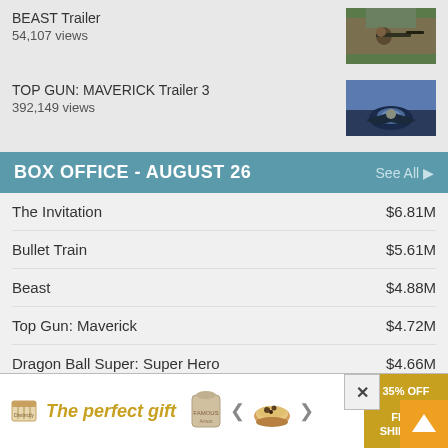BEAST Trailer
54,107 views
[Figure (photo): Thumbnail for BEAST Trailer showing a person with a sniper rifle in outdoor terrain]
TOP GUN: MAVERICK Trailer 3
392,149 views
[Figure (photo): Thumbnail for TOP GUN: MAVERICK Trailer 3 showing fighter jet cockpit view]
BOX OFFICE - AUGUST 26
| Movie | Gross |
| --- | --- |
| The Invitation | $6.81M |
| Bullet Train | $5.61M |
| Beast | $4.88M |
| Top Gun: Maverick | $4.72M |
| Dragon Ball Super: Super Hero | $4.66M |
| DC League of Super-Pets | $4.14M |
| Three Tho... | ...2M |
| Minions: T... | ...M |
[Figure (screenshot): Advertisement overlay: The perfect gift with food product carousel and 35% OFF + FREE SHIPPING promo]